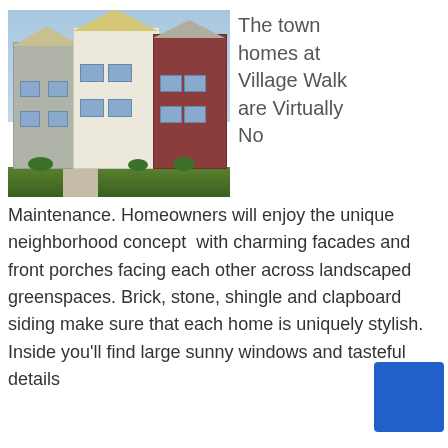[Figure (photo): Exterior photo of multi-story brick and siding townhomes at Village Walk, with landscaped front yard and walkway under blue sky]
The town homes at Village Walk are Virtually No
Maintenance. Homeowners will enjoy the unique neighborhood concept  with charming facades and front porches facing each other across landscaped greenspaces. Brick, stone, shingle and clapboard siding make sure that each home is uniquely stylish. Inside you'll find large sunny windows and tasteful details